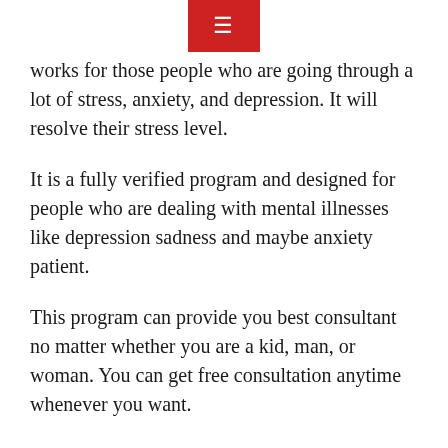[Figure (other): Red navigation menu button with hamburger icon at top center]
works for those people who are going through a lot of stress, anxiety, and depression. It will resolve their stress level.
It is a fully verified program and designed for people who are dealing with mental illnesses like depression sadness and maybe anxiety patient.
This program can provide you best consultant no matter whether you are a kid, man, or woman. You can get free consultation anytime whenever you want.
As mental health is very important these days and lots of people are dealing with this, a 15minutes4me test will be very helpful.
How does 15minutes.com